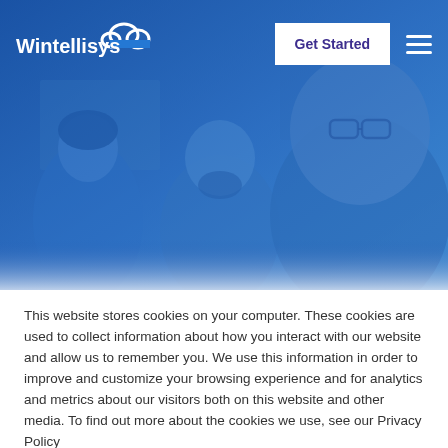Wintellisys | Get Started
[Figure (photo): Blue-tinted photo of three smiling office professionals, overlaid with a semi-transparent blue gradient. Used as hero banner image.]
This website stores cookies on your computer. These cookies are used to collect information about how you interact with our website and allow us to remember you. We use this information in order to improve and customize your browsing experience and for analytics and metrics about our visitors both on this website and other media. To find out more about the cookies we use, see our Privacy Policy
Accept